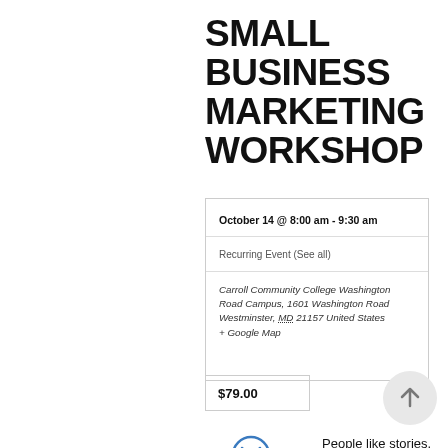SMALL BUSINESS MARKETING WORKSHOP
October 14 @ 8:00 am - 9:30 am
Recurring Event (See all)
Carroll Community College Washington Road Campus, 1601 Washington Road Westminster, MD 21157 United States + Google Map
$79.00
[Figure (logo): Miller Resources for Entrepreneurs logo - circular M icon above bold MILLER text with tagline 'Resources for Entrepreneurs, A Service of Carroll Community College']
People like stories. Good stories capture their attention and are easy